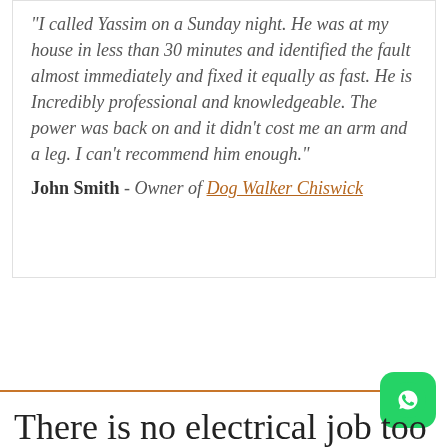"I called Yassim on a Sunday night. He was at my house in less than 30 minutes and identified the fault almost immediately and fixed it equally as fast. He is Incredibly professional and knowledgeable. The power was back on and it didn't cost me an arm and a leg. I can't recommend him enough." John Smith - Owner of Dog Walker Chiswick
There is no electrical job too